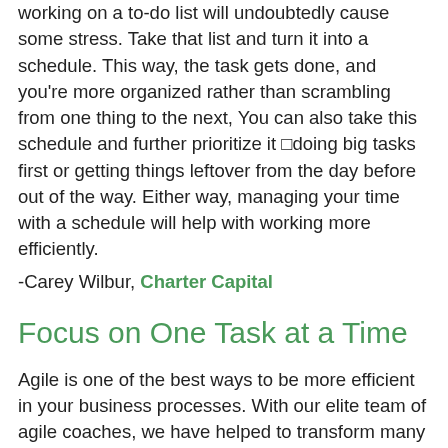working on a to-do list will undoubtedly cause some stress. Take that list and turn it into a schedule. This way, the task gets done, and you're more organized rather than scrambling from one thing to the next, You can also take this schedule and further prioritize it □doing big tasks first or getting things leftover from the day before out of the way. Either way, managing your time with a schedule will help with working more efficiently.
-Carey Wilbur, Charter Capital
Focus on One Task at a Time
Agile is one of the best ways to be more efficient in your business processes. With our elite team of agile coaches, we have helped to transform many businesses in different industries to achieve greater